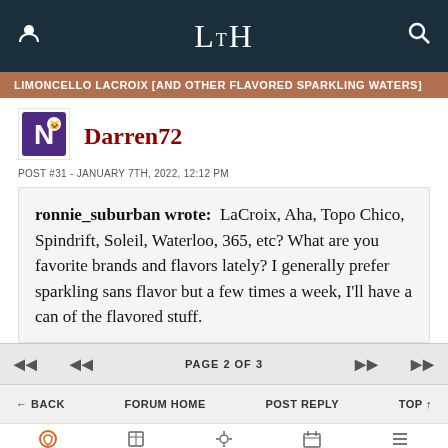LTH
LIMONCELLO LACROIX [AND OTHER FLAVORED SPARKLING WATERS]
[Figure (logo): Northwestern Wildcats logo - purple N with wildcat]
Darren72
POST #31 - JANUARY 7TH, 2022, 12:12 PM
ronnie_suburban wrote: LaCroix, Aha, Topo Chico, Spindrift, Soleil, Waterloo, 365, etc? What are you favorite brands and flavors lately? I generally prefer sparkling sans flavor but a few times a week, I'll have a can of the flavored stuff.
PAGE 2 OF 3
BACK  FORUM HOME  POST REPLY  TOP
CHAT  ARTICLES  GUIDE  EVENTS  MORE